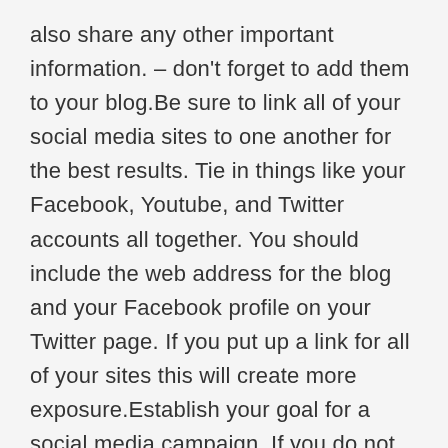also share any other important information. – don't forget to add them to your blog.Be sure to link all of your social media sites to one another for the best results. Tie in things like your Facebook, Youtube, and Twitter accounts all together. You should include the web address for the blog and your Facebook profile on your Twitter page. If you put up a link for all of your sites this will create more exposure.Establish your goal for a social media campaign. If you do not know what you hope to achieve with your campaign, you won't know when you have been successful. Are you looking for product awareness, concrete sales, or better customer service? When you can answer these questions, building a strategy is an easier step.Use a variety of media to stimulate your potential customers when social media marketing. Having pictures, video, and games can increase the appeal of your page a